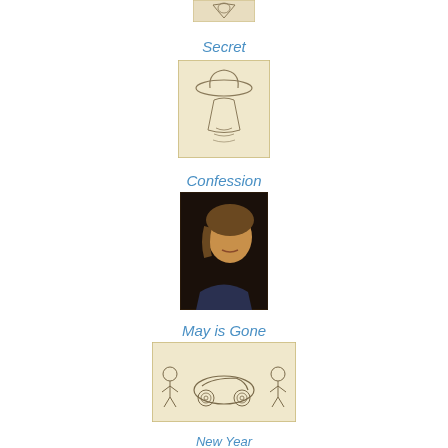[Figure (illustration): Partial sketch image at top of page, cropped]
Secret
[Figure (illustration): Pencil sketch of a figure from behind wearing a wide-brimmed hat]
Confession
[Figure (photo): Photograph of a man in profile, appears to be speaking]
May is Gone
[Figure (illustration): Pencil sketch of figures and a car]
New Year
[Figure (illustration): Pencil sketch of a person's face/portrait]